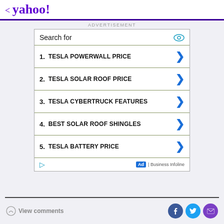< yahoo!
ADVERTISEMENT
[Figure (screenshot): Search ad box with 5 items: 1. TESLA POWERWALL PRICE, 2. TESLA SOLAR ROOF PRICE, 3. TESLA CYBERTRUCK FEATURES, 4. BEST SOLAR ROOF SHINGLES, 5. TESLA BATTERY PRICE. Ad label: Business Infoline.]
View comments